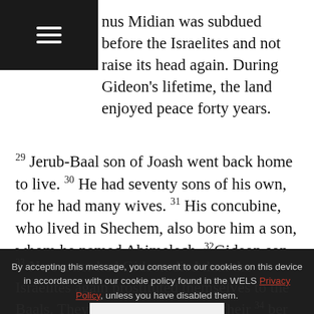[Figure (other): Hamburger menu icon (three horizontal white lines on black background) in top-left corner]
nus Midian was subdued before the Israelites and not raise its head again. During Gideon's lifetime, the land enjoyed peace forty years.
29 Jerub-Baal son of Joash went back home to live. 30 He had seventy sons of his own, for he had many wives. 31 His concubine, who lived in Shechem, also bore him a son, whom he named Abimelech. 32 Gideon son of Joash died at a good old age and was buried in the tomb of his father Joash in Ophrah of the Abiezrites.
33 No sooner had Gideon died than the Israelites again prostituted themselves to the Baals. They made Baal-Berith as their 34 ber the LORD their God, who had r m the hands of all their enemies on eve also failed to show kindness to the family of Jerub-Baal (that is, Gideon)
By accepting this message, you consent to our cookies on this device in accordance with our cookie policy found in the WELS Privacy Policy, unless you have disabled them.
I AGREE